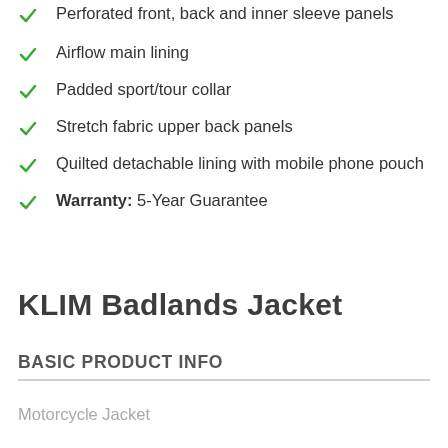Perforated front, back and inner sleeve panels
Airflow main lining
Padded sport/tour collar
Stretch fabric upper back panels
Quilted detachable lining with mobile phone pouch
Warranty: 5-Year Guarantee
KLIM Badlands Jacket
BASIC PRODUCT INFO
Motorcycle Jacket